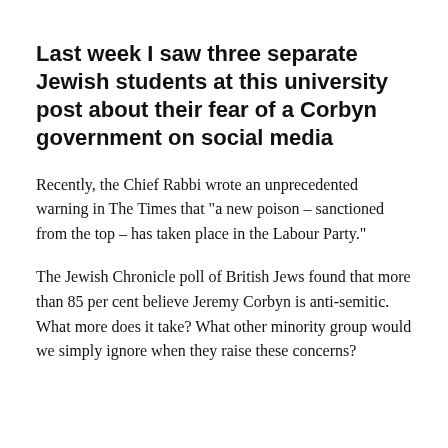Last week I saw three separate Jewish students at this university post about their fear of a Corbyn government on social media
Recently, the Chief Rabbi wrote an unprecedented warning in The Times that "a new poison – sanctioned from the top – has taken place in the Labour Party."
The Jewish Chronicle poll of British Jews found that more than 85 per cent believe Jeremy Corbyn is anti-semitic. What more does it take? What other minority group would we simply ignore when they raise these concerns?